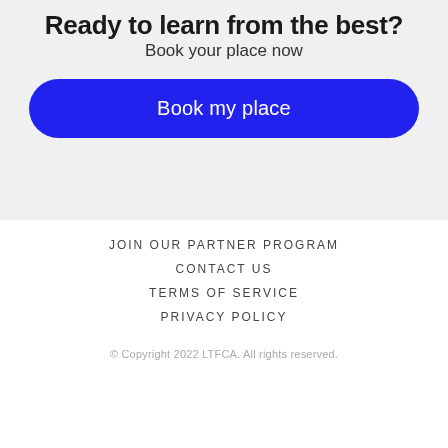Ready to learn from the best?
Book your place now
Book my place
JOIN OUR PARTNER PROGRAM
CONTACT US
TERMS OF SERVICE
PRIVACY POLICY
© Copyright 2022 LTFCA. All rights reserved.